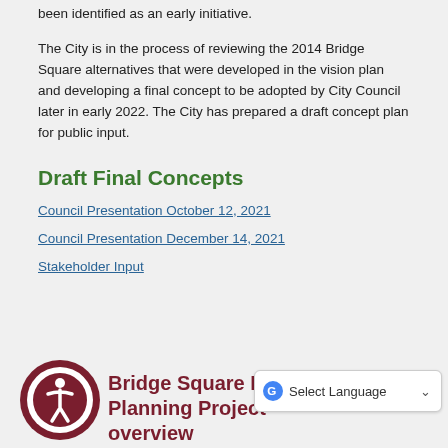been identified as an early initiative.
The City is in the process of reviewing the 2014 Bridge Square alternatives that were developed in the vision plan and developing a final concept to be adopted by City Council later in early 2022. The City has prepared a draft concept plan for public input.
Draft Final Concepts
Council Presentation October 12, 2021
Council Presentation December 14, 2021
Stakeholder Input
[Figure (logo): Circular accessibility icon with a stylized person figure in dark red/maroon color]
Bridge Square Master Planning Project overview